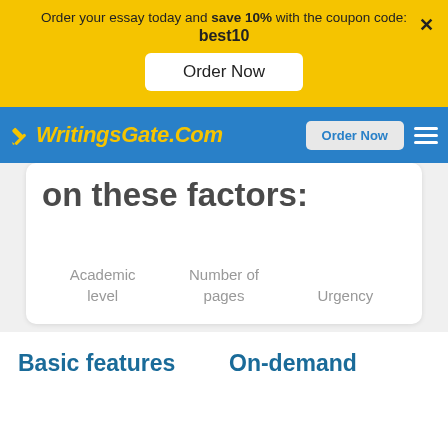Order your essay today and save 10% with the coupon code: best10
Order Now
[Figure (logo): WritingsGate.Com logo in yellow italic text with pencil icon on blue navigation bar]
Order Now
on these factors:
Academic level
Number of pages
Urgency
Basic features
On-demand